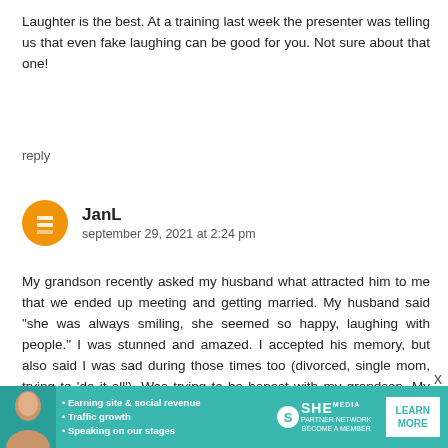Laughter is the best. At a training last week the presenter was telling us that even fake laughing can be good for you. Not sure about that one!
reply
JanL
september 29, 2021 at 2:24 pm
My grandson recently asked my husband what attracted him to me that we ended up meeting and getting married. My husband said "she was always smiling, she seemed so happy, laughing with people." I was stunned and amazed. I accepted his memory, but also said I was sad during those times too (divorced, single mom, trying to 'do it all'). Was trying to be honest with my grandson. My husband and I have now be
[Figure (infographic): Advertisement banner for SHE Partner Network with a woman's photo, bullet points about earning site & social revenue, traffic growth, speaking on stages, SHE logo, and Learn More button]